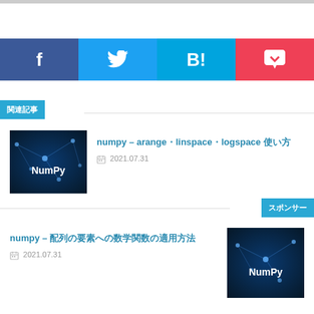[Figure (infographic): Social sharing buttons bar: Facebook (f), Twitter (bird icon), Hatena Bookmark (B!), Pocket (pocket icon)]
関連記事
[Figure (photo): NumPy logo on dark blue network background]
numpy – arange・linspace・logspace 使い方
2021.07.31
スポンサー
numpy – 配列の要素への数学関数の適用方法
2021.07.31
[Figure (photo): NumPy logo on dark blue network background]